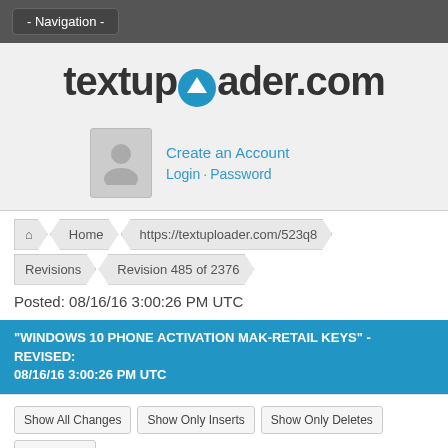- Navigation -
[Figure (logo): textuploader.com logo with blue upload arrow icon]
[Figure (illustration): User avatar placeholder (gray silhouette) with Create an Account, Login, Password links]
Home > https://textuploader.com/523q8
Revisions > Revision 485 of 2376
Posted: 08/16/16 3:00:26 PM UTC
"WINDOWS 10 PHONE ACTIVATION MAK-RETAIL KEYS" - REVISED: 08/16/16 3:00:26 PM UTC
Show All Changes  Show Only Inserts  Show Only Deletes  View Latest
Revision: 485